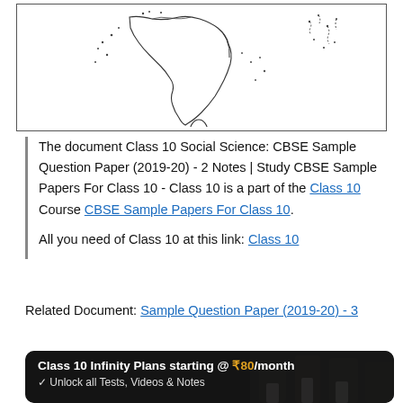[Figure (map): Map of India and Sri Lanka with dotted outline, shown in a bordered rectangle]
The document Class 10 Social Science: CBSE Sample Question Paper (2019-20) - 2 Notes | Study CBSE Sample Papers For Class 10 - Class 10 is a part of the Class 10 Course CBSE Sample Papers For Class 10.

All you need of Class 10 at this link: Class 10
Related Document: Sample Question Paper (2019-20) - 3
[Figure (infographic): Dark banner: Class 10 Infinity Plans starting @ ₹80/month. Unlock all Tests, Videos & Notes. Students in background.]